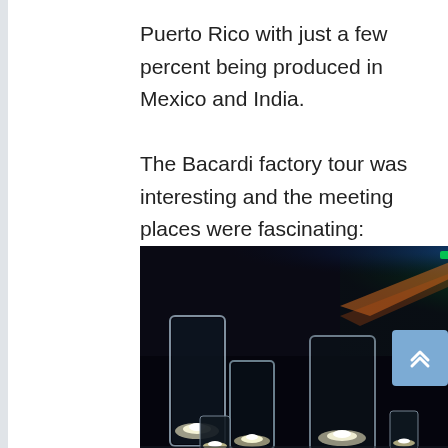Puerto Rico with just a few percent being produced in Mexico and India.

The Bacardi factory tour was interesting and the meeting places were fascinating:
[Figure (photo): Dark event venue with green and blue light projections on ceiling/walls, and a table with numerous tall and short glass cylinder candle holders with lit white candles in the foreground.]